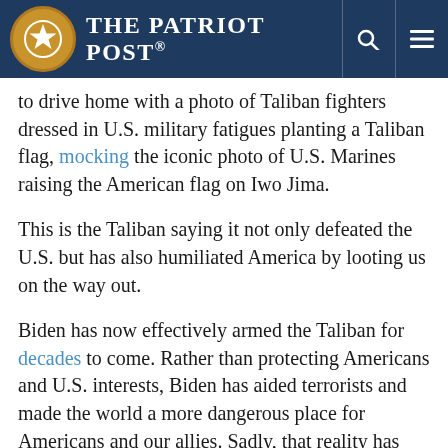The Patriot Post
to drive home with a photo of Taliban fighters dressed in U.S. military fatigues planting a Taliban flag, mocking the iconic photo of U.S. Marines raising the American flag on Iwo Jima.
This is the Taliban saying it not only defeated the U.S. but has also humiliated America by looting us on the way out.
Biden has now effectively armed the Taliban for decades to come. Rather than protecting Americans and U.S. interests, Biden has aided terrorists and made the world a more dangerous place for Americans and our allies. Sadly, that reality has been brought home almost immediately with the bombing attack in Kabul that took the lives of at least 13 U.S. Armed Forces Patriots.